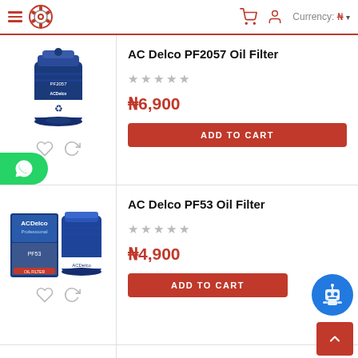Navigation header with hamburger menu, logo, cart icon, user icon, Currency: ₦
AC Delco PF2057 Oil Filter
★★★★★ (unrated)
₦6,900
ADD TO CART
AC Delco PF53 Oil Filter
★★★★★ (unrated)
₦4,900
ADD TO CART
Bosch 72167WS Oil Filter